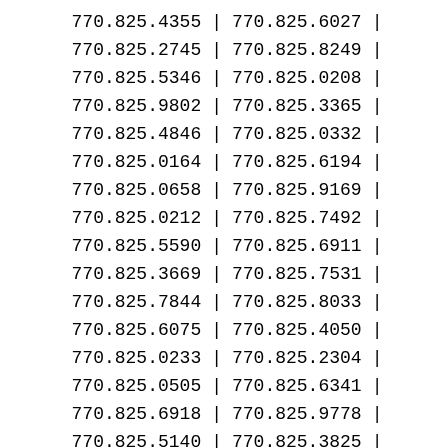| Col1 | pipe | Col2 | pipe |
| --- | --- | --- | --- |
| 770.825.4355 | | | 770.825.6027 | | |
| 770.825.2745 | | | 770.825.8249 | | |
| 770.825.5346 | | | 770.825.0208 | | |
| 770.825.9802 | | | 770.825.3365 | | |
| 770.825.4846 | | | 770.825.0332 | | |
| 770.825.0164 | | | 770.825.6194 | | |
| 770.825.0658 | | | 770.825.9169 | | |
| 770.825.0212 | | | 770.825.7492 | | |
| 770.825.5590 | | | 770.825.6911 | | |
| 770.825.3669 | | | 770.825.7531 | | |
| 770.825.7844 | | | 770.825.8033 | | |
| 770.825.6075 | | | 770.825.4050 | | |
| 770.825.0233 | | | 770.825.2304 | | |
| 770.825.0505 | | | 770.825.6341 | | |
| 770.825.6918 | | | 770.825.9778 | | |
| 770.825.5140 | | | 770.825.3825 | | |
| 770.825.8045 | | | 770.825.7665 | | |
| 770.825.2189 | | | 770.825.1230 | | |